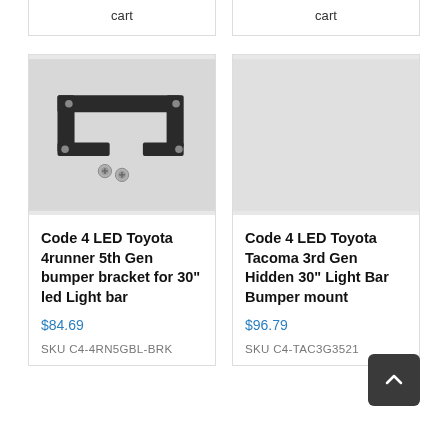cart
cart
[Figure (photo): Black metal bracket with mounting hardware (screws) for LED light bar on white/grey background]
[Figure (photo): Grey/blank product image placeholder]
Code 4 LED Toyota 4runner 5th Gen bumper bracket for 30" led Light bar
$84.69
SKU C4-4RN5GBL-BRK
Code 4 LED Toyota Tacoma 3rd Gen Hidden 30" Light Bar Bumper mount
$96.79
SKU C4-TAC3G3521